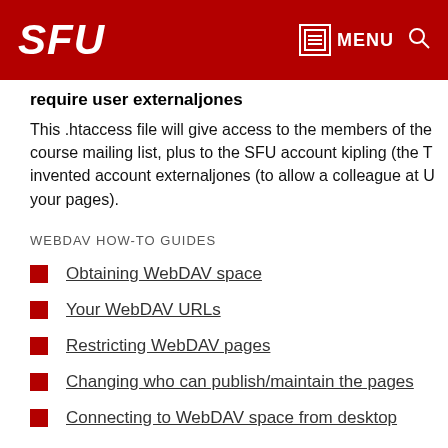SFU MENU
require user externaljones
This .htaccess file will give access to the members of the course mailing list, plus to the SFU account kipling (the T invented account externaljones (to allow a colleague at U your pages).
WEBDAV HOW-TO GUIDES
Obtaining WebDAV space
Your WebDAV URLs
Restricting WebDAV pages
Changing who can publish/maintain the pages
Connecting to WebDAV space from desktop